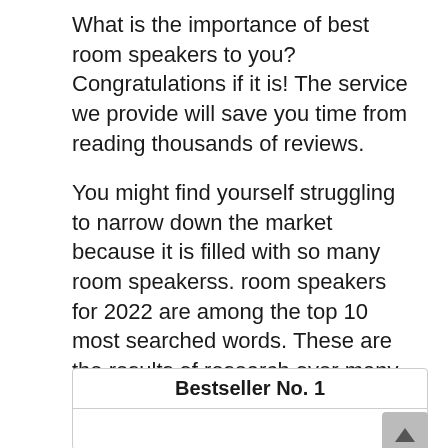What is the importance of best room speakers to you? Congratulations if it is! The service we provide will save you time from reading thousands of reviews.
You might find yourself struggling to narrow down the market because it is filled with so many room speakerss. room speakers for 2022 are among the top 10 most searched words. These are the results of research over many hours. Let’s find out more!
Bestseller No. 1